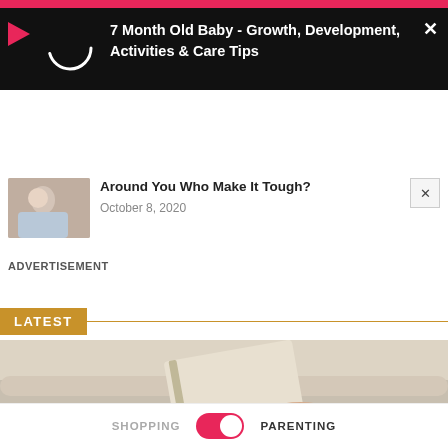[Figure (screenshot): Pink top navigation bar]
[Figure (screenshot): Black video overlay panel with play icon, loading spinner circle, and title text '7 Month Old Baby - Growth, Development, Activities & Care Tips' in white on black background]
7 Month Old Baby - Growth, Development, Activities & Care Tips
[Figure (photo): Small thumbnail photo of a baby or person]
Around You Who Make It Tough?
October 8, 2020
ADVERTISEMENT
LATEST
[Figure (photo): Person sitting on a couch writing in a notebook, beige tones]
SHOPPING   PARENTING